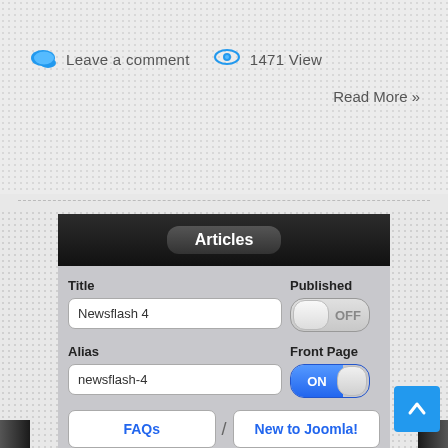Leave a comment   1471 View
Read More »
[Figure (screenshot): Mobile app screenshot showing Articles form with Title field (Newsflash 4), Published toggle (OFF), Alias field (newsflash-4), Front Page toggle (ON), and bottom navigation buttons (FAQs, New to Joomla!)]